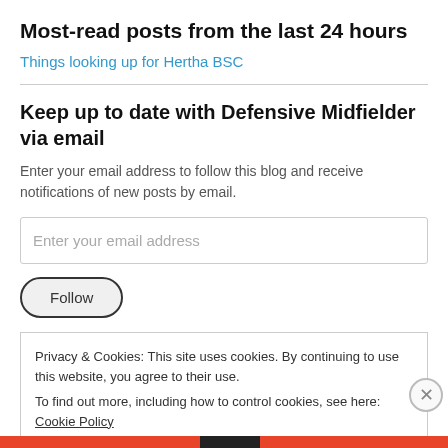Most-read posts from the last 24 hours
Things looking up for Hertha BSC
Keep up to date with Defensive Midfielder via email
Enter your email address to follow this blog and receive notifications of new posts by email.
Enter your email address
Follow
Privacy & Cookies: This site uses cookies. By continuing to use this website, you agree to their use.
To find out more, including how to control cookies, see here: Cookie Policy
Close and accept